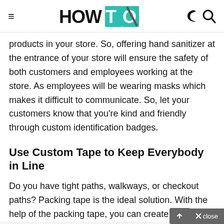HOWTO
products in your store. So, offering hand sanitizer at the entrance of your store will ensure the safety of both customers and employees working at the store. As employees will be wearing masks which makes it difficult to communicate. So, let your customers know that you're kind and friendly through custom identification badges.
Use Custom Tape to Keep Everybody in Line
Do you have tight paths, walkways, or checkout paths? Packing tape is the ideal solution. With the help of the packing tape, you can create arrows,